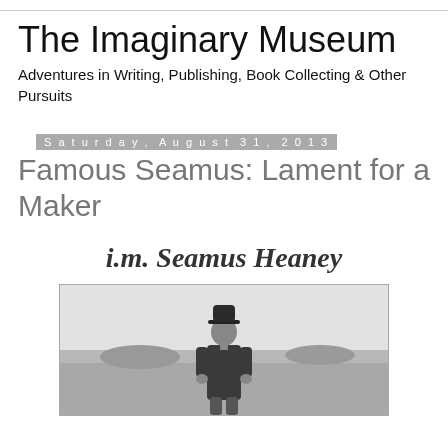The Imaginary Museum
Adventures in Writing, Publishing, Book Collecting & Other Pursuits
Saturday, August 31, 2013
Famous Seamus: Lament for a Maker
i.m. Seamus Heaney
[Figure (photo): Black and white photograph of a man wearing a hat and coat, standing outdoors with a landscape behind him. The photo is framed with a thin border.]